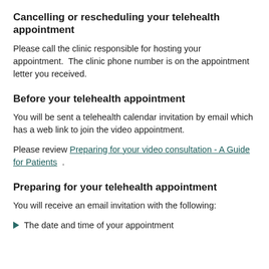Cancelling or rescheduling your telehealth appointment
Please call the clinic responsible for hosting your appointment.  The clinic phone number is on the appointment letter you received.
Before your telehealth appointment
You will be sent a telehealth calendar invitation by email which has a web link to join the video appointment.
Please review Preparing for your video consultation - A Guide for Patients .
Preparing for your telehealth appointment
You will receive an email invitation with the following:
The date and time of your appointment